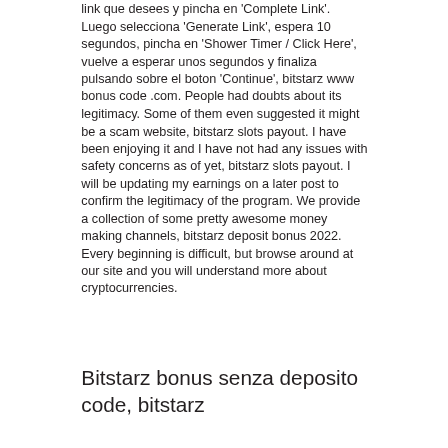link que desees y pincha en 'Complete Link'. Luego selecciona 'Generate Link', espera 10 segundos, pincha en 'Shower Timer / Click Here', vuelve a esperar unos segundos y finaliza pulsando sobre el boton 'Continue', bitstarz www bonus code .com. People had doubts about its legitimacy. Some of them even suggested it might be a scam website, bitstarz slots payout. I have been enjoying it and I have not had any issues with safety concerns as of yet, bitstarz slots payout. I will be updating my earnings on a later post to confirm the legitimacy of the program. We provide a collection of some pretty awesome money making channels, bitstarz deposit bonus 2022. Every beginning is difficult, but browse around at our site and you will understand more about cryptocurrencies.
Bitstarz bonus senza deposito code, bitstarz